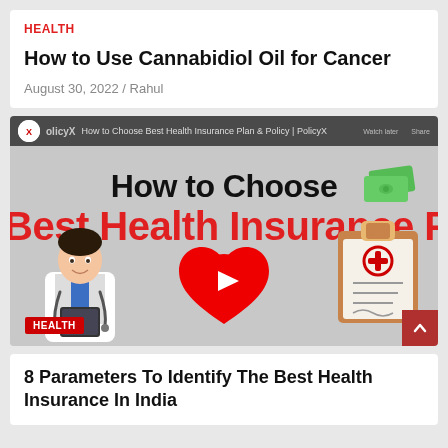HEALTH
How to Use Cannabidiol Oil for Cancer
August 30, 2022 / Rahul
[Figure (screenshot): YouTube video thumbnail: 'How to Choose Best Health Insurance Plan & Policy | PolicyX' with doctor illustration, heart with cross, clipboard, and YouTube play button. Shows PolicyX channel branding. HEALTH badge visible.]
8 Parameters To Identify The Best Health Insurance In India